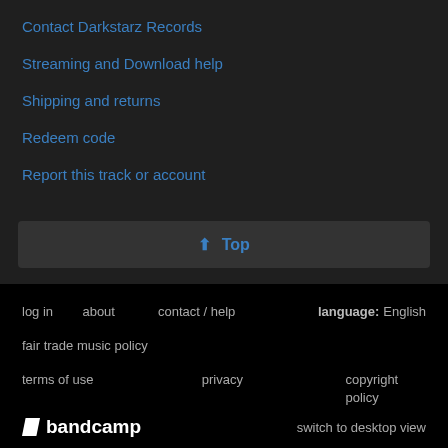Contact Darkstarz Records
Streaming and Download help
Shipping and returns
Redeem code
Report this track or account
↑ Top
log in   about   contact / help   language: English   fair trade music policy   terms of use   privacy   copyright policy   bandcamp   switch to desktop view